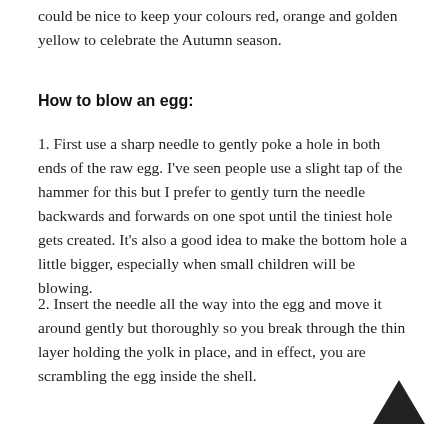could be nice to keep your colours red, orange and golden yellow to celebrate the Autumn season.
How to blow an egg:
1. First use a sharp needle to gently poke a hole in both ends of the raw egg. I've seen people use a slight tap of the hammer for this but I prefer to gently turn the needle backwards and forwards on one spot until the tiniest hole gets created. It's also a good idea to make the bottom hole a little bigger, especially when small children will be blowing.
2. Insert the needle all the way into the egg and move it around gently but thoroughly so you break through the thin layer holding the yolk in place, and in effect, you are scrambling the egg inside the shell.
[Figure (illustration): Upward-pointing arrow button in dark gray/black, positioned bottom-right corner]